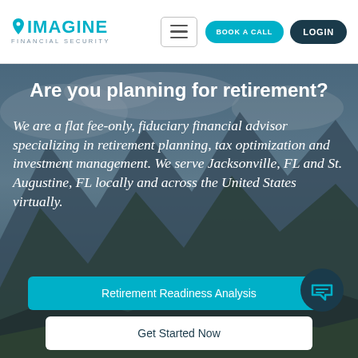Imagine Financial Security — navigation with BOOK A CALL and LOGIN buttons
Are you planning for retirement?
We are a flat fee-only, fiduciary financial advisor specializing in retirement planning, tax optimization and investment management. We serve Jacksonville, FL and St. Augustine, FL locally and across the United States virtually.
Retirement Readiness Analysis
Get Started Now